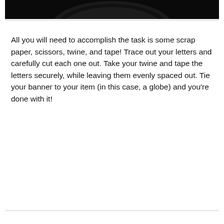[Figure (photo): Partial dark image showing a globe or sphere against a black background, cropped at the top of the page.]
All you will need to accomplish the task is some scrap paper, scissors, twine, and tape! Trace out your letters and carefully cut each one out. Take your twine and tape the letters securely, while leaving them evenly spaced out. Tie your banner to your item (in this case, a globe) and you’re done with it!